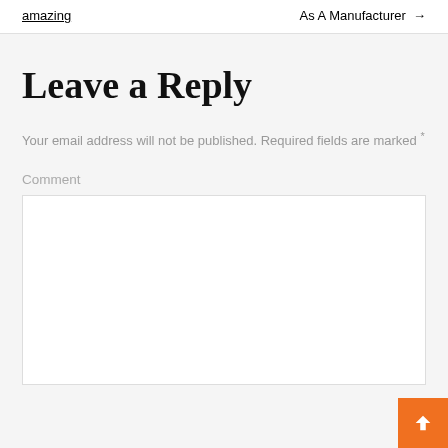amazing
As A Manufacturer →
Leave a Reply
Your email address will not be published. Required fields are marked *
Comment